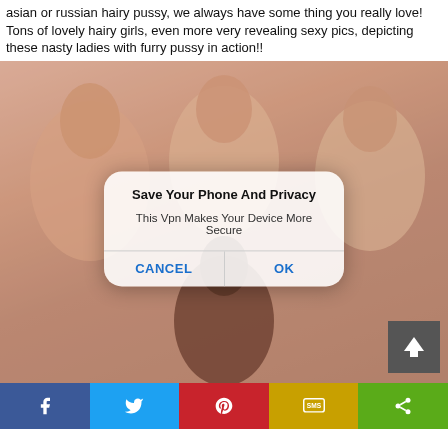asian or russian hairy pussy, we always have some thing you really love! Tons of lovely hairy girls, even more very revealing sexy pics, depicting these nasty ladies with furry pussy in action!!
[Figure (screenshot): Photo of people with an overlaid mobile dialog box reading 'Save Your Phone And Privacy / This Vpn Makes Your Device More Secure' with CANCEL and OK buttons]
[Figure (infographic): Social share bar with Facebook, Twitter, Pinterest, SMS, and Share buttons]